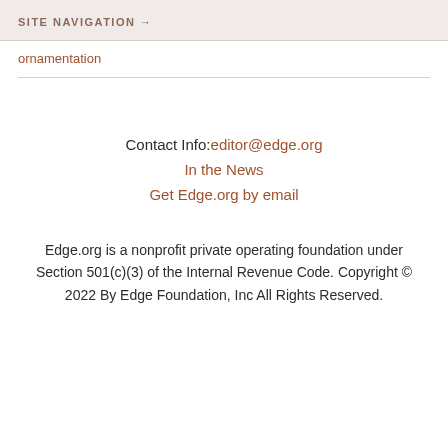SITE NAVIGATION →
ornamentation
Contact Info:editor@edge.org
In the News
Get Edge.org by email
Edge.org is a nonprofit private operating foundation under Section 501(c)(3) of the Internal Revenue Code. Copyright © 2022 By Edge Foundation, Inc All Rights Reserved.